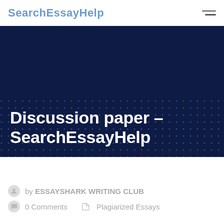SearchEssayHelp
Discussion paper - SearchEssayHelp
by ESSAYSHARK WRITING CLUB
0 Comments  Plagiarized Essays